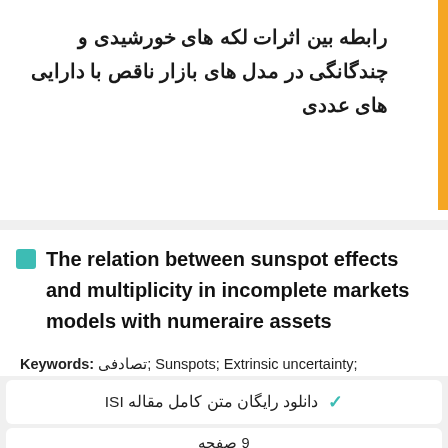رابطه بین اثرات لکه های خورشیدی و چندگانگی در مدل های بازار ناقص با دارایی های عددی
The relation between sunspot effects and multiplicity in incomplete markets models with numeraire assets
Keywords: تصادفی; Sunspots; Extrinsic uncertainty; Numeraire assets; Incomplete markets; Randomization;
دانلود رایگان متن کامل مقاله ISI
9 صفحه